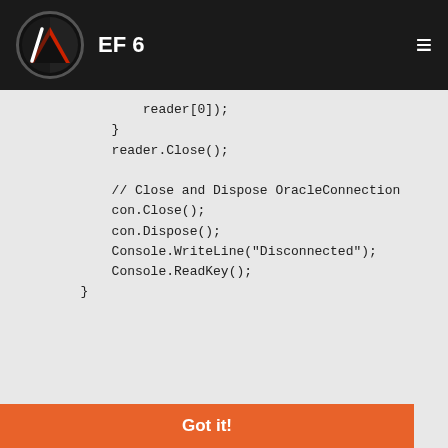EF 6
reader[0]);
            }
            reader.Close();

            // Close and Dispose OracleConnection
            con.Close();
            con.Dispose();
            Console.WriteLine("Disconnected");
            Console.ReadKey();
        }
Second program is using ODP.Net and EntityFramework and mainly created Entity Data Model (which was tested on Npgsql.EntityFramework and works great, perfect copy of the database from Oracle). The application returns the error:
This website uses cookies to ensure you get the best experience on our website. Learn more
Got it!